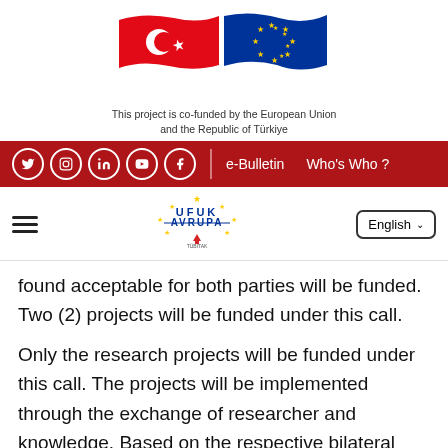[Figure (illustration): Turkish flag (red with white crescent and star) and European Union flag (blue with yellow stars) side by side, waving.]
This project is co-funded by the European Union and the Republic of Türkiye
[Figure (screenshot): Dark red navigation bar with social media icons (Twitter, Instagram, LinkedIn, YouTube, Facebook), a vertical divider, and links: e-Bulletin, Who's Who?]
[Figure (logo): Ufuk Avrupa logo with stars arranged around the text, and TÜBİTAK logo below. Hamburger menu icon on the left. English language selector button on the right.]
found acceptable for both parties will be funded. Two (2) projects will be funded under this call.
Only the research projects will be funded under this call. The projects will be implemented through the exchange of researcher and knowledge. Based on the respective bilateral agreement between TÜBİTAK and JSPS, each party will cover the costs of their own national team. While submitting the